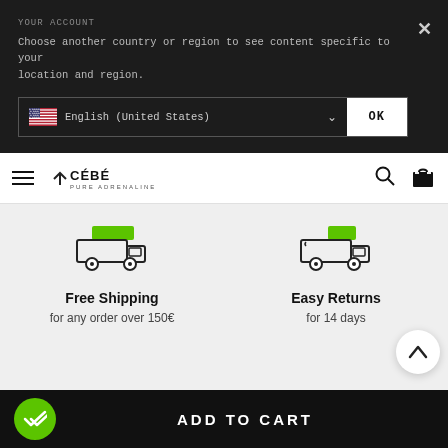Choose another country or region to see content specific to your location and region.
English (United States)
OK
[Figure (logo): CÉBÉ Pure Adrenaline logo with hamburger menu and nav icons]
[Figure (illustration): Truck/shipping icon with green accent for Free Shipping benefit]
Free Shipping
for any order over 150€
[Figure (illustration): Truck/returns icon with green accent for Easy Returns benefit]
Easy Returns
for 14 days
ADD TO CART